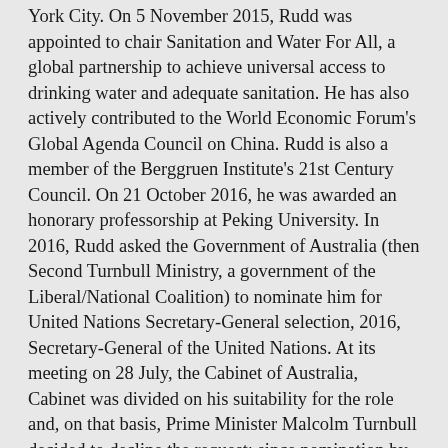York City. On 5 November 2015, Rudd was appointed to chair Sanitation and Water For All, a global partnership to achieve universal access to drinking water and adequate sanitation. He has also actively contributed to the World Economic Forum's Global Agenda Council on China. Rudd is also a member of the Berggruen Institute's 21st Century Council. On 21 October 2016, he was awarded an honorary professorship at Peking University. In 2016, Rudd asked the Government of Australia (then Second Turnbull Ministry, a government of the Liberal/National Coalition) to nominate him for United Nations Secretary-General selection, 2016, Secretary-General of the United Nations. At its meeting on 28 July, the Cabinet of Australia, Cabinet was divided on his suitability for the role and, on that basis, Prime Minister Malcolm Turnbull decided to decline the request; since nomination by the Australian government was considered a necessary prerequisite for candidacy, Turnbull's decision essentially ended Rudd's campaign; Rudd later confirmed as much. However, there remains dispute over what if any earlier assurances Turnbull may have given to Rudd and about what happened in the Cabinet meeting. Rudd is also a member of the Global Leadership Foundation, a non-profit organisation